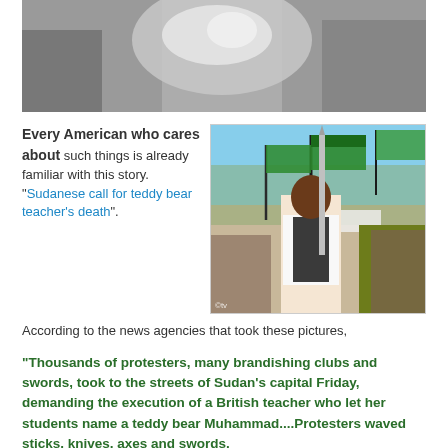[Figure (photo): Top portion of a grayscale/color photo showing a person, partially cropped, at top of page]
Every American who cares about such things is already familiar with this story. "Sudanese call for teddy bear teacher's death".
[Figure (photo): Photo of a large crowd of protesters in Sudan, many holding green and white flags, with a man holding a sword in the foreground]
According to the news agencies that took these pictures,
"Thousands of protesters, many brandishing clubs and swords, took to the streets of Sudan's capital Friday, demanding the execution of a British teacher who let her students name a teddy bear Muhammad....Protesters waved sticks, knives, axes and swords.
"'Kill her, kill her by firing squad!' they chanted. 'No tolerance,